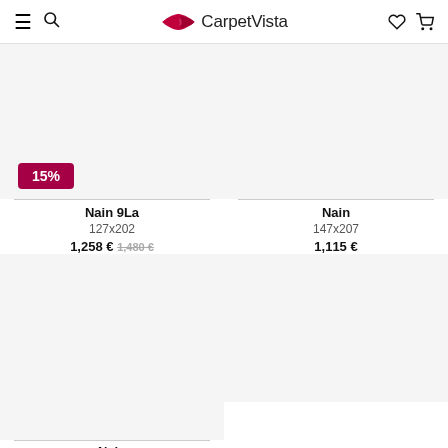CarpetVista
[Figure (photo): Product image placeholder for Nain 9La carpet, white/empty area]
15%
Nain 9La
127x202
1,258 € 1,480 €
[Figure (photo): Product image placeholder for Nain carpet, white/empty area]
Nain
147x207
1,115 €
[Figure (photo): Product image placeholder for second row Nain carpet]
[Figure (photo): Product image placeholder for second row carpet]
Nain